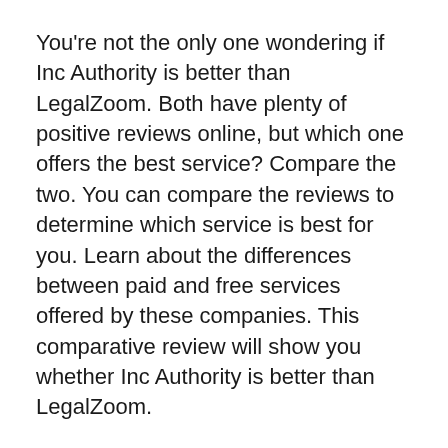You're not the only one wondering if Inc Authority is better than LegalZoom. Both have plenty of positive reviews online, but which one offers the best service? Compare the two. You can compare the reviews to determine which service is best for you. Learn about the differences between paid and free services offered by these companies. This comparative review will show you whether Inc Authority is better than LegalZoom.
Customer service is a critical component of a good service, and both Inc Authority and LegalZoom offer 24/7 support. LegalZoom's response time is slower, so you might want to consider another service. Inc Authority